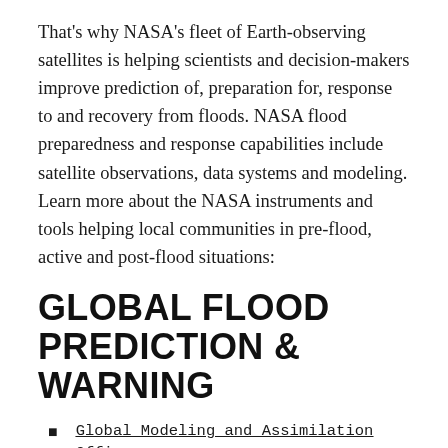That's why NASA's fleet of Earth-observing satellites is helping scientists and decision-makers improve prediction of, preparation for, response to and recovery from floods. NASA flood preparedness and response capabilities include satellite observations, data systems and modeling. Learn more about the NASA instruments and tools helping local communities in pre-flood, active and post-flood situations:
GLOBAL FLOOD PREDICTION & WARNING
Global Modeling and Assimilation Office (GMAO) ↗